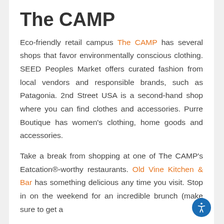The CAMP
Eco-friendly retail campus The CAMP has several shops that favor environmentally conscious clothing. SEED Peoples Market offers curated fashion from local vendors and responsible brands, such as Patagonia. 2nd Street USA is a second-hand shop where you can find clothes and accessories. Purre Boutique has women's clothing, home goods and accessories.
Take a break from shopping at one of The CAMP's Eatcation®-worthy restaurants. Old Vine Kitchen & Bar has something delicious any time you visit. Stop in on the weekend for an incredible brunch (make sure to get a